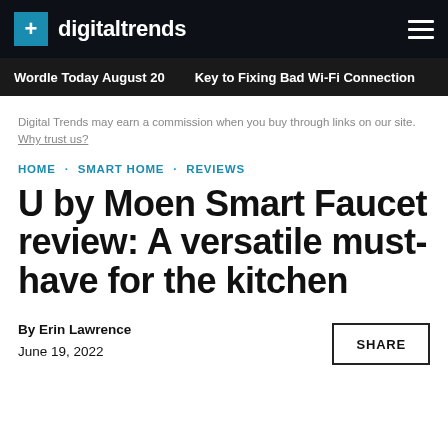digitaltrends
Wordle Today August 20  ·  Key to Fixing Bad Wi-Fi Connection
Digital Trends may earn a commission when you buy through links on our site. Why trust us?
HOME · SMART HOME · REVIEWS
U by Moen Smart Faucet review: A versatile must-have for the kitchen
By Erin Lawrence
June 19, 2022